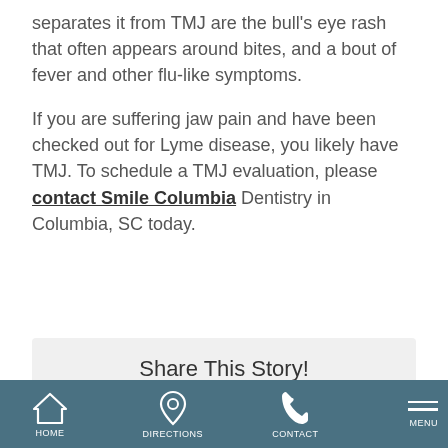separates it from TMJ are the bull's eye rash that often appears around bites, and a bout of fever and other flu-like symptoms.
If you are suffering jaw pain and have been checked out for Lyme disease, you likely have TMJ. To schedule a TMJ evaluation, please contact Smile Columbia Dentistry in Columbia, SC today.
Share This Story!
HOME | DIRECTIONS | CONTACT | MENU